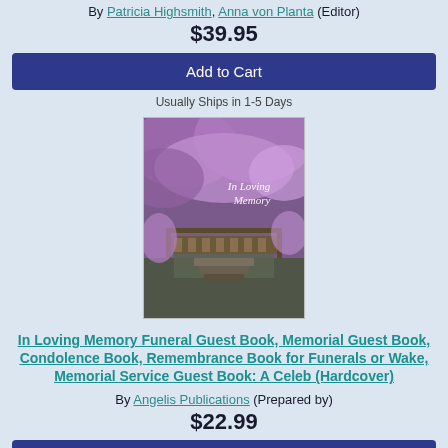By Patricia Highsmith, Anna von Planta (Editor)
$39.95
Add to Cart
Usually Ships in 1-5 Days
[Figure (photo): Book cover of 'In Loving Memory' showing a garden bridge scene with purple flowering trees]
In Loving Memory Funeral Guest Book, Memorial Guest Book, Condolence Book, Remembrance Book for Funerals or Wake, Memorial Service Guest Book: A Celeb (Hardcover)
By Angelis Publications (Prepared by)
$22.99
Add to Cart
Usually Ships in 1-5 Days
[Figure (photo): Partial view of another book cover at the bottom of the page]